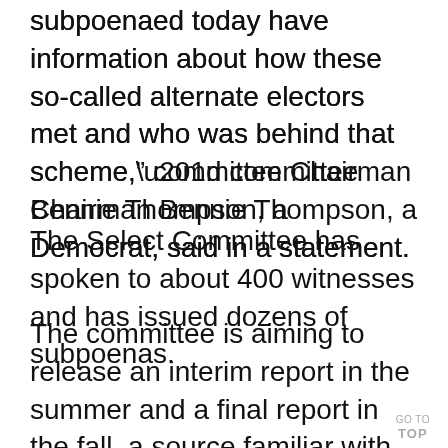subpoenaed today have information about how these so-called alternate electors met and who was behind that scheme,” committee Chairman Bennie Thompson, a Democrat, said in a statement.
The Select Committee has spoken to about 400 witnesses and has issued dozens of subpoenas.
The committee is aiming to release an interim report in the summer and a final report in the fall, a source familiar with the investigation said last month.
GO TO TOP